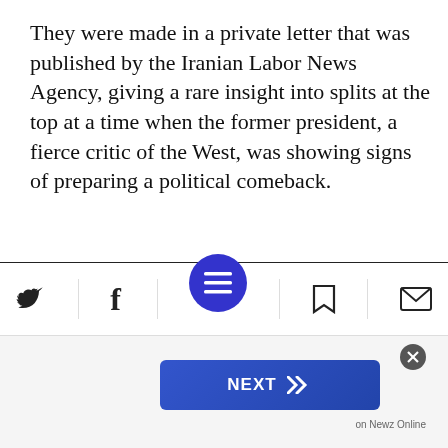They were made in a private letter that was published by the Iranian Labor News Agency, giving a rare insight into splits at the top at a time when the former president, a fierce critic of the West, was showing signs of preparing a political comeback.
- Advertisment -
[Figure (illustration): Advertisement image showing two hands clasped/arm-wrestling with a Haaretz Labels logo badge in top-left corner, on a light green oval background]
[Figure (infographic): Bottom toolbar with social media icons: Twitter bird, Facebook f, hamburger menu button (blue circle), bookmark icon, envelope/mail icon]
[Figure (infographic): Next navigation bar with a blue gradient NEXT button with double chevrons, a close X button, and 'on Newz Online' label]